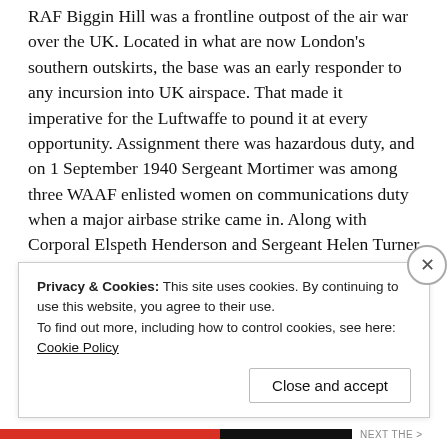RAF Biggin Hill was a frontline outpost of the air war over the UK. Located in what are now London's southern outskirts, the base was an early responder to any incursion into UK airspace. That made it imperative for the Luftwaffe to pound it at every opportunity. Assignment there was hazardous duty, and on 1 September 1940 Sergeant Mortimer was among three WAAF enlisted women on communications duty when a major airbase strike came in. Along with Corporal Elspeth Henderson and Sergeant Helen Turner in the HQ, she maintained vital communications from her post at the switchboard (in the armory, surrounded by high explosives one might well hope avoided a direct hit). But that was not all.
Privacy & Cookies: This site uses cookies. By continuing to use this website, you agree to their use.
To find out more, including how to control cookies, see here: Cookie Policy
Close and accept